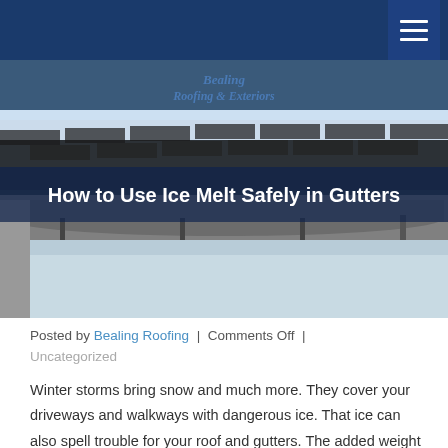[Figure (photo): Photograph of a snow-covered roof with gutters in winter; overlay text reads 'How to Use Ice Melt Safely in Gutters' and a Bealing Roofing & Exteriors logo appears at the top center of the image.]
Posted by Bealing Roofing | Comments Off | Uncategorized
Winter storms bring snow and much more. They cover your driveways and walkways with dangerous ice. That ice can also spell trouble for your roof and gutters. The added weight that snow and ice bring to gutters can be a significant problem. Add to that to ice dams occurring during the daily thaws and nightly